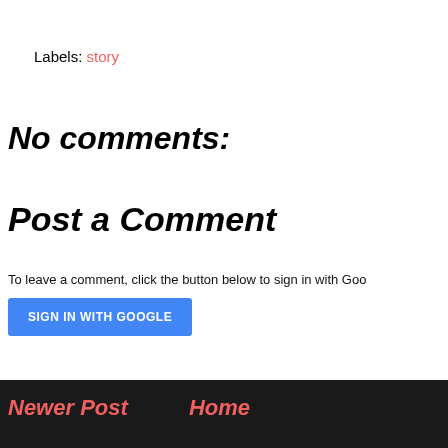Labels: story
No comments:
Post a Comment
To leave a comment, click the button below to sign in with Goo
SIGN IN WITH GOOGLE
Newer Post    Home